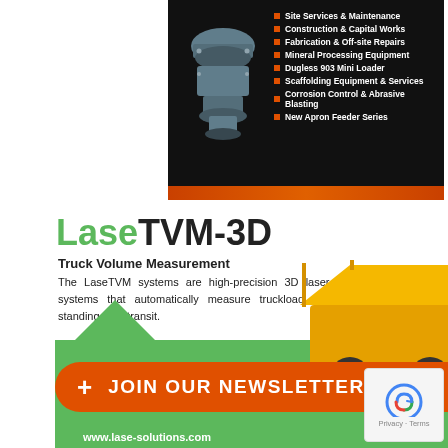[Figure (infographic): Dark background advertisement banner with a blue industrial machine/crusher on the left and a white bulleted list of services on the right, with an orange strip at the bottom]
Site Services & Maintenance
Construction & Capital Works
Fabrication & Off-site Repairs
Mineral Processing Equipment
Dugless 903 Mini Loader
Scaffolding Equipment & Services
Corrosion Control & Abrasive Blasting
New Apron Feeder Series
LaseTVM-3D
Truck Volume Measurement
The LaseTVM systems are high-precision 3D laser measuring systems that automatically measure truckload volumes while standing or in transit.
[Figure (infographic): Green background section with a yellow mining dump truck, an orange 'JOIN OUR NEWSLETTER' button with plus sign, www.lase-solutions.com URL, and LASE logo]
[Figure (other): reCAPTCHA privacy badge with Privacy and Terms links]